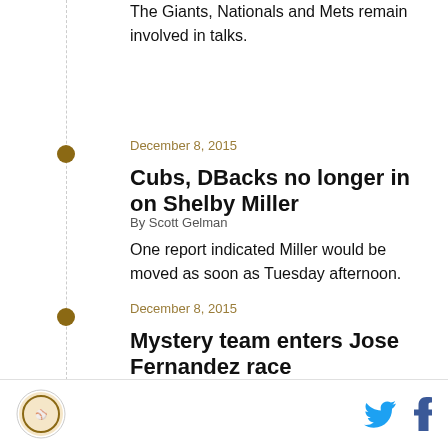The Giants, Nationals and Mets remain involved in talks.
December 8, 2015
Cubs, DBacks no longer in on Shelby Miller
By Scott Gelman
One report indicated Miller would be moved as soon as Tuesday afternoon.
December 8, 2015
Mystery team enters Jose Fernandez race
By Chris Schubert
A mystery team has entered the conversation for Marlins ace Jose Fernandez.